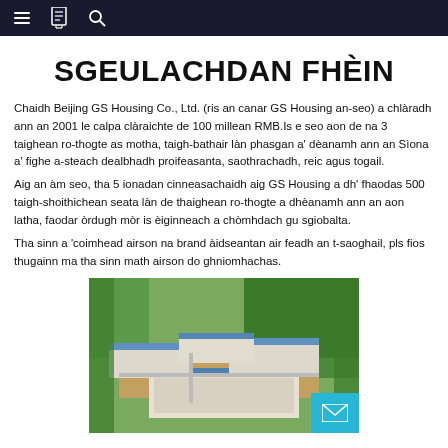Navigation bar with menu, book, and search icons
SGEULACHDAN FHÈIN
Chaidh Beijing GS Housing Co., Ltd. (ris an canar GS Housing an-seo) a chlàradh ann an 2001 le calpa clàraichte de 100 millean RMB.Is e seo aon de na 3 taighean ro-thogte as motha, taigh-bathair làn phasgan a' dèanamh ann an Sìona a' fighe a-steach dealbhadh proifeasanta, saothrachadh, reic agus togail.
Aig an àm seo, tha 5 ionadan cinneasachaidh aig GS Housing a dh' fhaodas 500 taigh-shoithichean seata làn de thaighean ro-thogte a dhèanamh ann an aon latha, faodar òrdugh mòr is èiginneach a chòmhdach gu sgiobalta.
Tha sinn a 'coimhead airson na brand àidseantan air feadh an t-saoghail, pls fios thugainn ma tha sinn math airson do ghniomhachas.
[Figure (photo): Aerial view of a large prefabricated housing manufacturing facility with multiple building complexes surrounded by trees, with blue-roofed structures visible from above.]